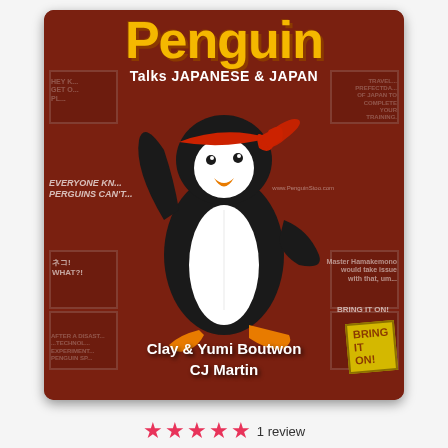[Figure (illustration): Book cover for 'Penguin Talks Japanese & Japan' by Clay & Yumi Boutwon and CJ Martin. Features a cartoon ninja penguin wearing a red headband, set against a dark red comic strip background with various comic panels. The penguin is black and white with an orange beak and orange feet.]
★★★★★ 1 review